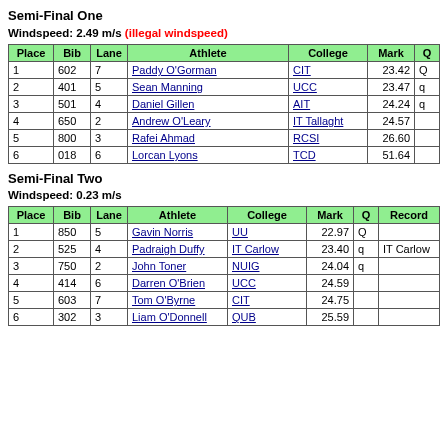Semi-Final One
Windspeed: 2.49 m/s (illegal windspeed)
| Place | Bib | Lane | Athlete | College | Mark | Q |
| --- | --- | --- | --- | --- | --- | --- |
| 1 | 602 | 7 | Paddy O'Gorman | CIT | 23.42 | Q |
| 2 | 401 | 5 | Sean Manning | UCC | 23.47 | q |
| 3 | 501 | 4 | Daniel Gillen | AIT | 24.24 | q |
| 4 | 650 | 2 | Andrew O'Leary | IT Tallaght | 24.57 |  |
| 5 | 800 | 3 | Rafei Ahmad | RCSI | 26.60 |  |
| 6 | 018 | 6 | Lorcan Lyons | TCD | 51.64 |  |
Semi-Final Two
Windspeed: 0.23 m/s
| Place | Bib | Lane | Athlete | College | Mark | Q | Record |
| --- | --- | --- | --- | --- | --- | --- | --- |
| 1 | 850 | 5 | Gavin Norris | UU | 22.97 | Q |  |
| 2 | 525 | 4 | Padraigh Duffy | IT Carlow | 23.40 | q | IT Carlow |
| 3 | 750 | 2 | John Toner | NUIG | 24.04 | q |  |
| 4 | 414 | 6 | Darren O'Brien | UCC | 24.59 |  |  |
| 5 | 603 | 7 | Tom O'Byrne | CIT | 24.75 |  |  |
| 6 | 302 | 3 | Liam O'Donnell | QUB | 25.59 |  |  |